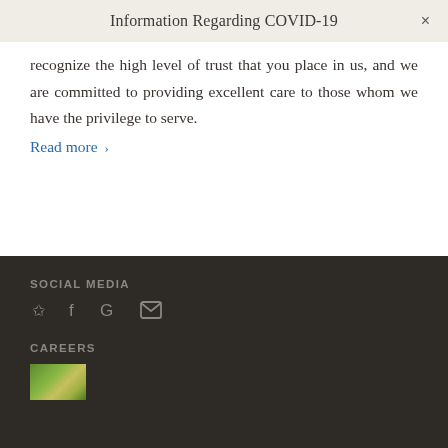Information Regarding COVID-19
recognize the high level of trust that you place in us, and we are committed to providing excellent care to those whom we have the privilege to serve. Read more >
SOCIAL MEDIA
[Figure (other): Social media icons: Yelp, Facebook, Google, Email]
CAREERS
[Figure (photo): Small thumbnail image of outdoor/nature scene in green and yellow tones]